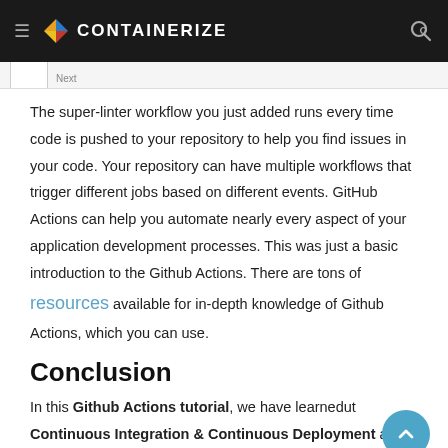CONTAINERIZE
The super-linter workflow you just added runs every time code is pushed to your repository to help you find issues in your code. Your repository can have multiple workflows that trigger different jobs based on different events. GitHub Actions can help you automate nearly every aspect of your application development processes. This was just a basic introduction to the Github Actions. There are tons of resources available for in-depth knowledge of Github Actions, which you can use.
Conclusion
In this Github Actions tutorial, we have learned about Continuous Integration & Continuous Deployment and